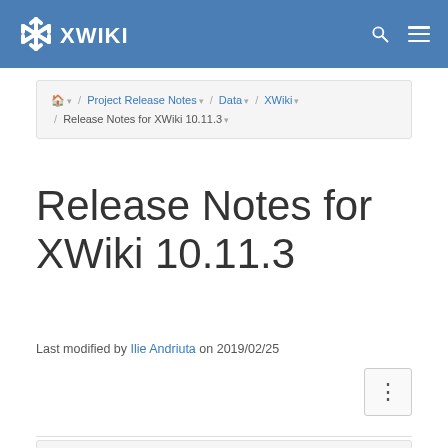XWiki
Home / Project Release Notes / Data / XWiki / Release Notes for XWiki 10.11.3
Release Notes for XWiki 10.11.3
Last modified by Ilie Andriuta on 2019/02/25
New and Noteworthy (since XWiki 10.11.2)
All Changes
Tested Browsers & Databases